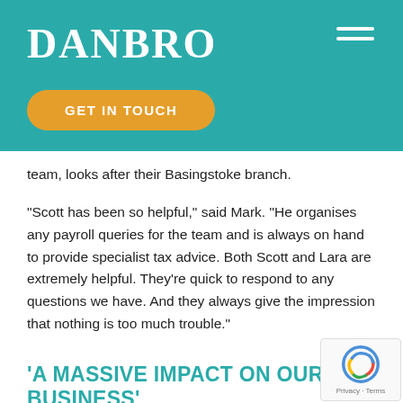DANBRO
[Figure (other): Hamburger menu icon (three white horizontal lines) in top right of teal header]
[Figure (other): Orange rounded button labeled GET IN TOUCH]
team, looks after their Basingstoke branch.
“Scott has been so helpful,” said Mark. “He organises any payroll queries for the team and is always on hand to provide specialist tax advice. Both Scott and Lara are extremely helpful. They’re quick to respond to any questions we have. And they always give the impression that nothing is too much trouble.”
‘A MASSIVE IMPACT ON OUR BUSINESS’
One of the main issues the company had before using Danbro
[Figure (other): reCAPTCHA privacy badge in bottom right corner]